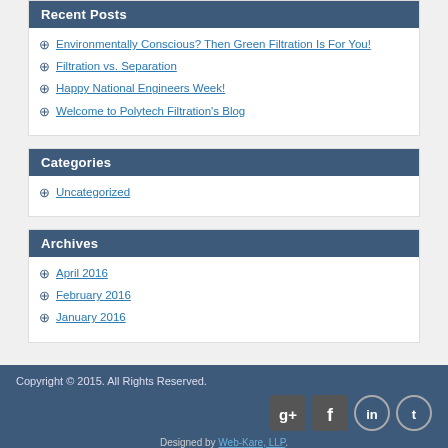Recent Posts
Environmentally Conscious? Then Green Filtration Is For You!
Filtration vs. Separation
Happy National Engineers Week!
Welcome to Polytech Filtration's Blog
Categories
Uncategorized
Archives
April 2016
February 2016
January 2016
Copyright © 2015. All Rights Reserved.
Designed by Web-Kare, LLP.